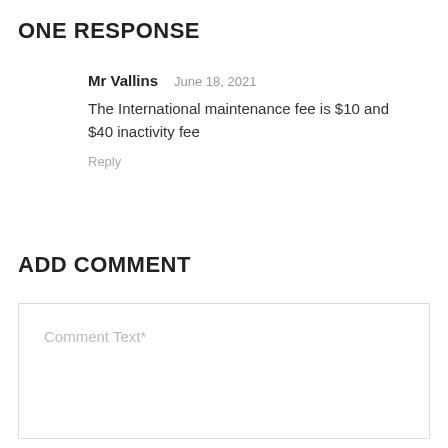ONE RESPONSE
Mr Vallins   June 18, 2021
The International maintenance fee is $10 and $40 inactivity fee
Reply
ADD COMMENT
Comment Text*